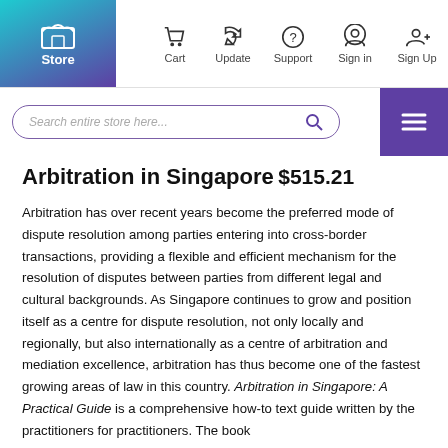Store | Cart | Update | Support | Sign in | Sign Up
Arbitration in Singapore
$515.21
Arbitration has over recent years become the preferred mode of dispute resolution among parties entering into cross-border transactions, providing a flexible and efficient mechanism for the resolution of disputes between parties from different legal and cultural backgrounds. As Singapore continues to grow and position itself as a centre for dispute resolution, not only locally and regionally, but also internationally as a centre of arbitration and mediation excellence, arbitration has thus become one of the fastest growing areas of law in this country. Arbitration in Singapore: A Practical Guide is a comprehensive how-to text guide written by the practitioners for practitioners. The book